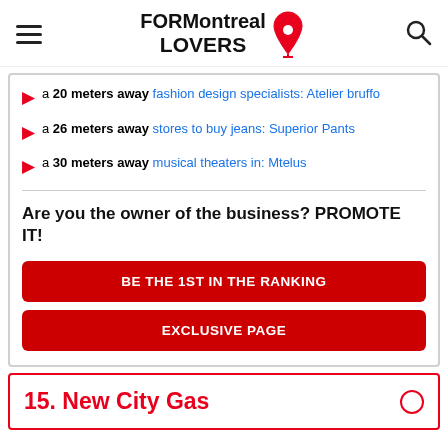FOR Montreal LOVERS [logo]
a 20 meters away fashion design specialists: Atelier bruffo
a 26 meters away stores to buy jeans: Superior Pants
a 30 meters away musical theaters in: Mtelus
Are you the owner of the business? PROMOTE IT!
BE THE 1ST IN THE RANKING
EXCLUSIVE PAGE
15. New City Gas